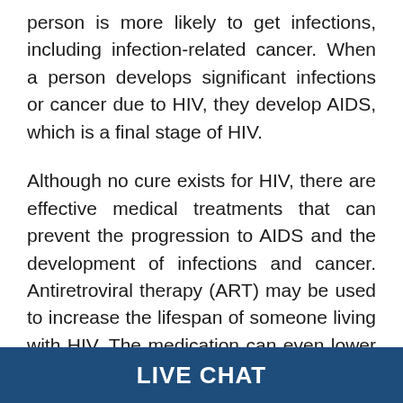person is more likely to get infections, including infection-related cancer. When a person develops significant infections or cancer due to HIV, they develop AIDS, which is a final stage of HIV.
Although no cure exists for HIV, there are effective medical treatments that can prevent the progression to AIDS and the development of infections and cancer. Antiretroviral therapy (ART) may be used to increase the lifespan of someone living with HIV. The medication can even lower the chances of transmitting the virus to other people. A person who receives proper medical treatment can live as long as
LIVE CHAT